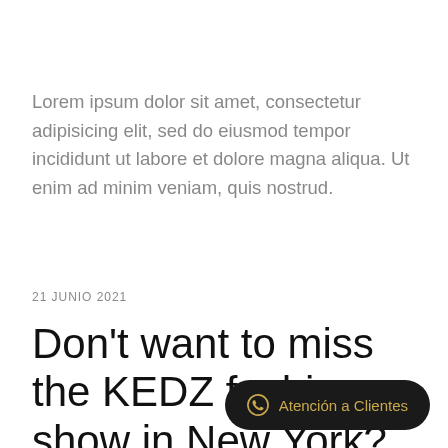Lorem ipsum dolor sit amet, consectetur adipisicing elit, sed do eiusmod tempor incididunt ut labore et dolore magna aliqua. Ut enim ad minim veniam, quis nostrud.
21 JUNIO 2021
Don't want to miss the KEDZ fashion show in New York? Get all th
Atención a Clientes